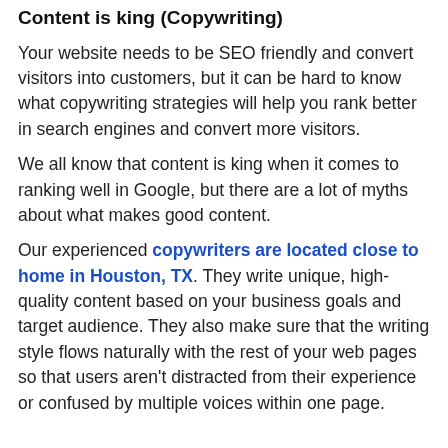Content is king (Copywriting)
Your website needs to be SEO friendly and convert visitors into customers, but it can be hard to know what copywriting strategies will help you rank better in search engines and convert more visitors.
We all know that content is king when it comes to ranking well in Google, but there are a lot of myths about what makes good content.
Our experienced copywriters are located close to home in Houston, TX. They write unique, high-quality content based on your business goals and target audience. They also make sure that the writing style flows naturally with the rest of your web pages so that users aren't distracted from their experience or confused by multiple voices within one page.